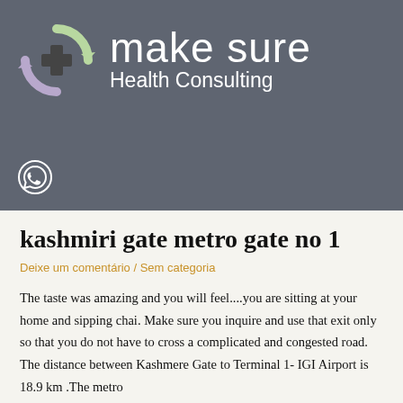[Figure (logo): Make Sure Health Consulting logo with circular arrow icon in light green and purple, and text 'make sure Health Consulting' on grey background]
kashmiri gate metro gate no 1
Deixe um comentário / Sem categoria
The taste was amazing and you will feel....you are sitting at your home and sipping chai. Make sure you inquire and use that exit only so that you do not have to cross a complicated and congested road. The distance between Kashmere Gate to Terminal 1- IGI Airport is 18.9 km .The metro